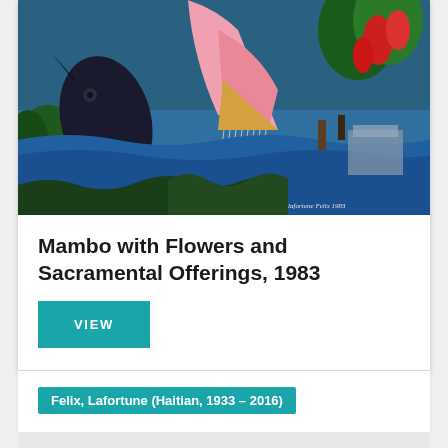[Figure (photo): A painting by Lafortune Felix depicting a Mambo figure with pink garments, large dark fish, tropical flowers, blue waterscape, and figures near a structure. Artist signature visible: 'lafortune Felix 1983'.]
Mambo with Flowers and Sacramental Offerings, 1983
VIEW
Felix, Lafortune (Haitian, 1933 – 2016)